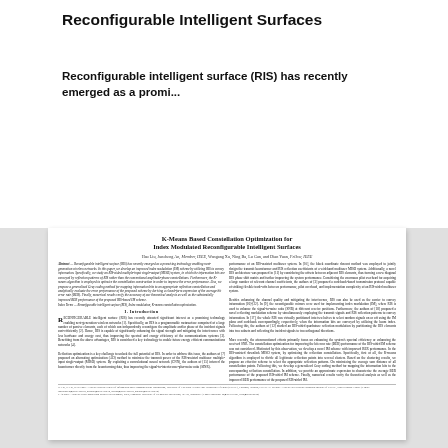Reconfigurable Intelligent Surfaces
Reconfigurable intelligent surface (RIS) has recently emerged as a promi...
[Figure (other): Embedded academic paper page showing 'K-Means Based Constellation Optimization for Index Modulated Reconfigurable Intelligent Surfaces' with authors, abstract in two columns, introduction section with drop cap, and footnotes.]